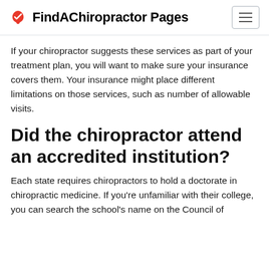FindAChiropractor Pages
If your chiropractor suggests these services as part of your treatment plan, you will want to make sure your insurance covers them. Your insurance might place different limitations on those services, such as number of allowable visits.
Did the chiropractor attend an accredited institution?
Each state requires chiropractors to hold a doctorate in chiropractic medicine. If you’re unfamiliar with their college, you can search the school’s name on the Council of